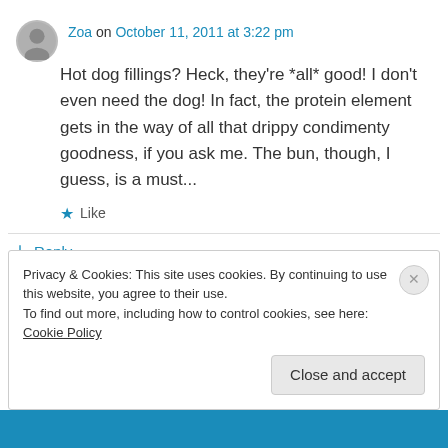Zoa on October 11, 2011 at 3:22 pm
Hot dog fillings? Heck, they're *all* good! I don't even need the dog! In fact, the protein element gets in the way of all that drippy condimenty goodness, if you ask me. The bun, though, I guess, is a must...
★ Like
↳ Reply
Privacy & Cookies: This site uses cookies. By continuing to use this website, you agree to their use.
To find out more, including how to control cookies, see here: Cookie Policy
Close and accept